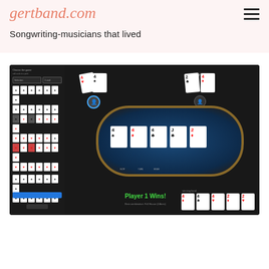gertband.com — Songwriting-musicians that lived
gertband.com
Songwriting-musicians that lived
[Figure (screenshot): Screenshot of an online poker game interface showing a poker table with community cards (4♠, 4♦, 4♣, J♣, 2♦), two players' hands, a sidebar with card selection options, and a 'Player 1 Wins!' message at the bottom.]
[Figure (other): Partial bottom element, appears to be a coral/salmon colored card or button partially visible at the bottom of the page.]